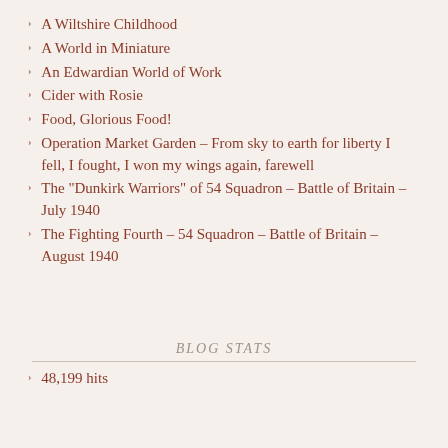A Wiltshire Childhood
A World in Miniature
An Edwardian World of Work
Cider with Rosie
Food, Glorious Food!
Operation Market Garden – From sky to earth for liberty I fell, I fought, I won my wings again, farewell
The "Dunkirk Warriors" of 54 Squadron – Battle of Britain – July 1940
The Fighting Fourth – 54 Squadron – Battle of Britain – August 1940
BLOG STATS
48,199 hits